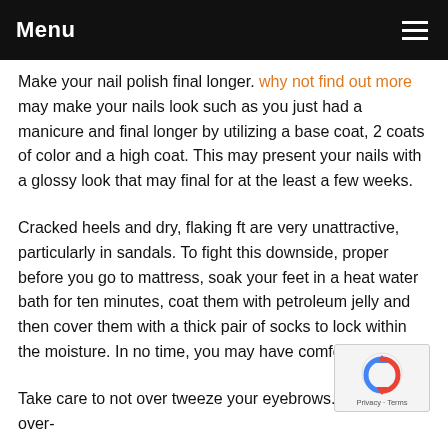Menu
Make your nail polish final longer. why not find out more may make your nails look such as you just had a manicure and final longer by utilizing a base coat, 2 coats of color and a high coat. This may present your nails with a glossy look that may final for at the least a few weeks.
Cracked heels and dry, flaking ft are very unattractive, particularly in sandals. To fight this downside, proper before you go to mattress, soak your feet in a heat water bath for ten minutes, coat them with petroleum jelly and then cover them with a thick pair of socks to lock within the moisture. In no time, you may have comfortable feet.
Take care to not over tweeze your eyebrows. Repeated over-